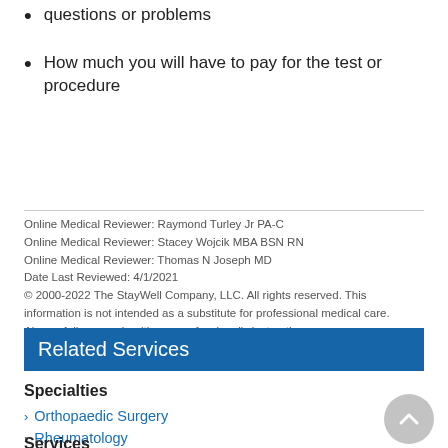questions or problems
How much you will have to pay for the test or procedure
Online Medical Reviewer: Raymond Turley Jr PA-C
Online Medical Reviewer: Stacey Wojcik MBA BSN RN
Online Medical Reviewer: Thomas N Joseph MD
Date Last Reviewed: 4/1/2021
© 2000-2022 The StayWell Company, LLC. All rights reserved. This information is not intended as a substitute for professional medical care. Always follow your healthcare professional's instructions.
Related Services
Specialties
Orthopaedic Surgery
Rheumatology
Services
Women's Orthopaedic and Joint Disease Center